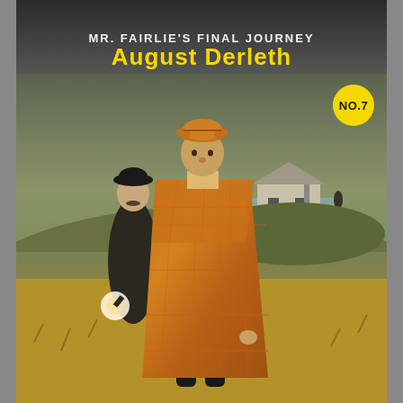MR. FAIRLIE'S FINAL JOURNEY
August Derleth
[Figure (illustration): Book cover illustration showing two men walking on a moor. The foreground figure wears a distinctive orange/brown plaid Inverness cape and deerstalker cap resembling Sherlock Holmes. The second figure behind him wears a dark suit and bowler hat, holding a lantern (Watson). In the background is a stone cottage and a distant figure on the horizon against a stormy grey-green sky.]
NO.7